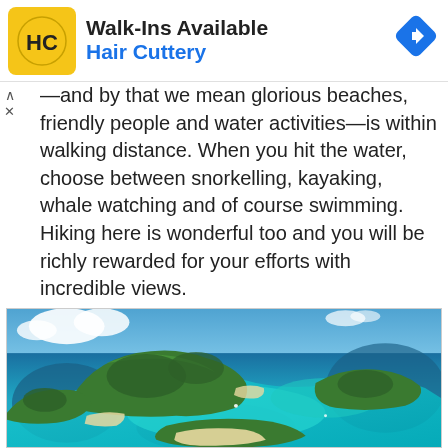[Figure (other): Hair Cuttery advertisement banner with yellow HC logo, text 'Walk-Ins Available' and 'Hair Cuttery' in blue, and a blue navigation diamond icon on the right]
—and by that we mean glorious beaches, friendly people and water activities—is within walking distance. When you hit the water, choose between snorkelling, kayaking, whale watching and of course swimming. Hiking here is wonderful too and you will be richly rewarded for your efforts with incredible views.
[Figure (photo): Aerial photograph of a tropical island archipelago with turquoise waters, white sand beaches, green vegetation-covered hills, and blue sky with white clouds]